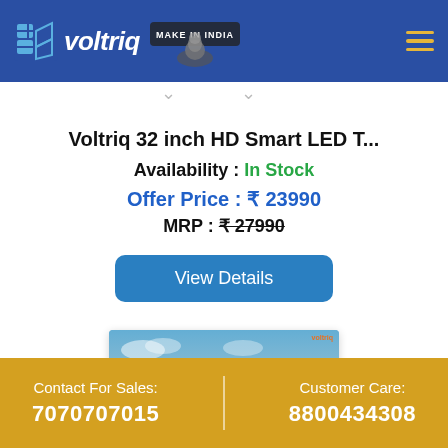[Figure (logo): Voltriq logo with Make in India badge on blue header navigation bar]
Voltriq 32 inch HD Smart LED T...
Availability : In Stock
Offer Price : ₹ 23990
MRP : ₹ 27990
View Details
[Figure (photo): TV screen showing a scenic building/cityscape image with blue sky]
Contact For Sales: 7070707015 | Customer Care: 8800434308